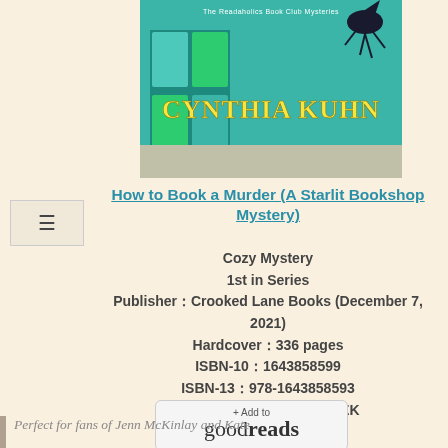[Figure (illustration): Book cover for 'How to Book a Murder' by Cynthia Kuhn, part of The Readaholics Book Club Mysteries series. Teal/turquoise bookshop background with a raven, text 'CYNTHIA KUHN' in yellow.]
How to Book a Murder (A Starlit Bookshop Mystery)
Cozy Mystery
1st in Series
Publisher：Crooked Lane Books (December 7, 2021)
Hardcover：336 pages
ISBN-10：1643858599
ISBN-13：978-1643858593
Digital ASIN：B08QVJFZZK
[Figure (logo): Goodreads '+ Add to goodreads' button]
Perfect for fans of Jenn McKinlay and Kate